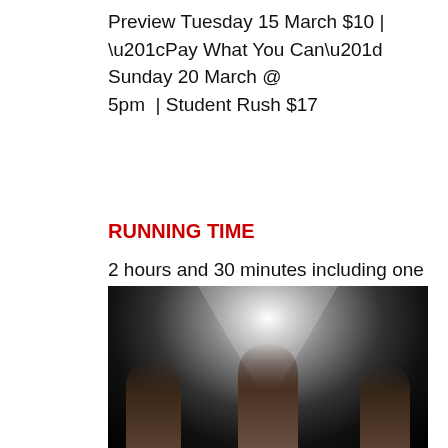Preview Tuesday 15 March $10 | “Pay What You Can” Sunday 20 March @ 5pm  | Student Rush $17
RUNNING TIME
2 hours and 30 minutes including one interval
[Figure (photo): Dark stage photograph showing three performers lit from above with a bright spotlight, standing against a dark background]